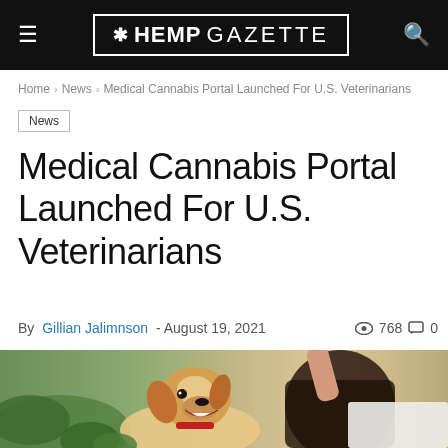☰ ❊HEMP GAZETTE 🔍
Home › News › Medical Cannabis Portal Launched For U.S. Veterinarians
News
Medical Cannabis Portal Launched For U.S. Veterinarians
By Gillian Jalimnson - August 19, 2021   👁 768  💬 0
[Figure (photo): A happy dog with mouth open looking up at a person's hand, with green plants in the background. Vet or cannabis clinic setting implied.]